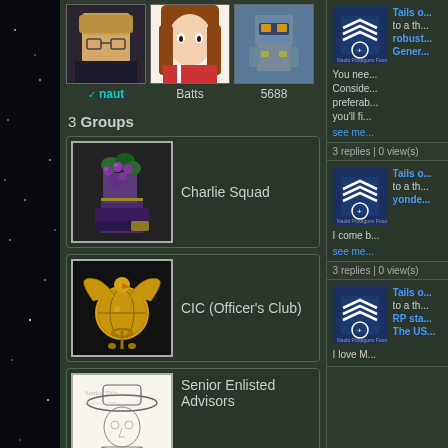[Figure (screenshot): Row of user avatars: anime character with glasses (naut), anime girl with brown hair (Batts), pixel robot (5688)]
naut
Batts
5688
3 Groups
[Figure (illustration): Pixel art image of a purple armored boot with grapes/vines, Charlie Squad group icon]
Charlie Squad
[Figure (illustration): US Marine Corps Eagle Globe and Anchor emblem in gold, CIC Officer's Club group icon]
CIC (Officer's Club)
[Figure (illustration): Pencil sketch drawing of a military figure in uniform hat, Senior Enlisted Advisors group icon]
Senior Enlisted Advisors
[Figure (screenshot): Right sidebar: Tails of character avatar with blue military insignia icon, forum post preview about robust General]
to a th... robust... Gener...
You nee... Conside... preferab... you'll fi...
see me...
3 replies | 0 view(s)
to a th... yonde...
I come b...
see me...
3 replies | 0 view(s)
to a th... RP sta... The US...
I love M...